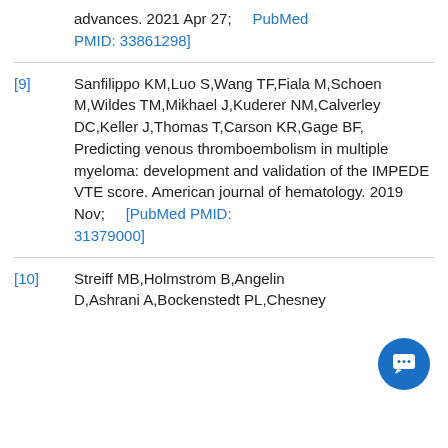advances. 2021 Apr 27;    [PubMed PMID: 33861298]
[9]   Sanfilippo KM,Luo S,Wang TF,Fiala M,Schoen M,Wildes TM,Mikhael J,Kuderer NM,Calverley DC,Keller J,Thomas T,Carson KR,Gage BF, Predicting venous thromboembolism in multiple myeloma: development and validation of the IMPEDE VTE score. American journal of hematology. 2019 Nov;    [PubMed PMID: 31379000]
[10]   Streiff MB,Holmstrom B,Angelin D,Ashrani A,Bockenstedt PL,Chesney ...